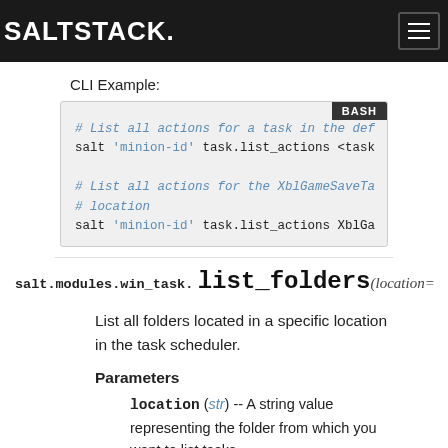SALTSTACK
CLI Example:
# List all actions for a task in the defau
salt 'minion-id' task.list_actions <task_n

# List all actions for the XblGameSaveTask
# location
salt 'minion-id' task.list_actions XblGame
salt.modules.win_task. list_folders (location=
List all folders located in a specific location in the task scheduler.
Parameters
location (str) -- A string value representing the folder from which you want to list tasks.